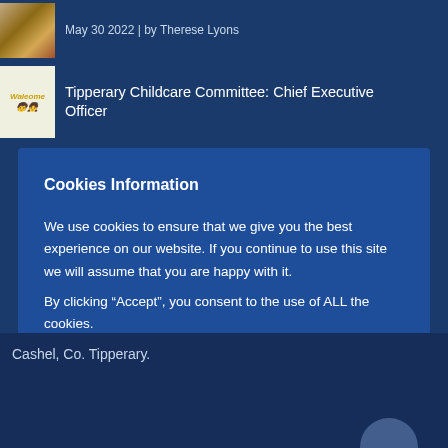May 30 2022 | by Therese Lyons
Tipperary Childcare Committee: Chief Executive Officer
Cookies Information
We use cookies to ensure that we give you the best experience on our website. If you continue to use this site we will assume that you are happy with it.
By clicking “Accept”, you consent to the use of ALL the cookies.
Cashel, Co. Tipperary.